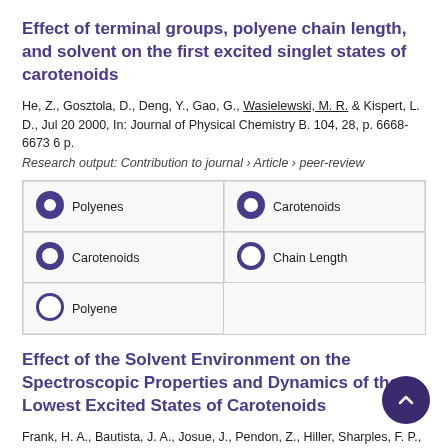Effect of terminal groups, polyene chain length, and solvent on the first excited singlet states of carotenoids
He, Z., Gosztola, D., Deng, Y., Gao, G., Wasielewski, M. R. & Kispert, L. D., Jul 20 2000, In: Journal of Physical Chemistry B. 104, 28, p. 6668-6673 6 p.
Research output: Contribution to journal › Article › peer-review
[Figure (infographic): Five keyword/topic badges arranged in a 2-column grid: 100% Polyenes, 93% Carotenoids, 93% Carotenoids, 70% Chain Length, 67% Polyene]
Effect of the Solvent Environment on the Spectroscopic Properties and Dynamics of the Lowest Excited States of Carotenoids
Frank, H. A., Bautista, J. A., Josue, J., Pendon, Z., Hiller, Sharples, F. P., Gosztola, D. & Wasielewski, M. R., May 1... In: Journal of Physical Chemistry B. 104, 18, p. 4569-4577 9 p.
Research output: Contribution to journal › Article › peer-review